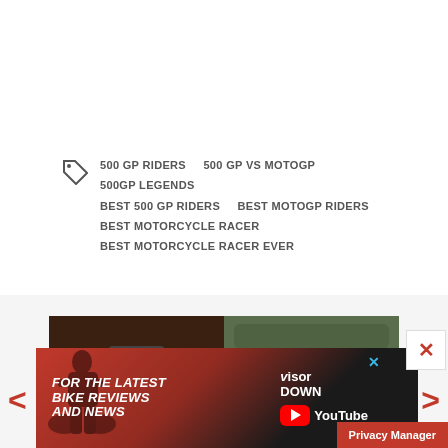500 GP RIDERS   500 GP VS MOTOGP   500GP LEGENDS   BEST 500 GP RIDERS   BEST MOTOGP RIDERS   BEST MOTORCYCLE RACER   BEST MOTORCYCLE RACER EVER
[Figure (photo): Close-up of motorcycle handlebars and chrome headlight, reddish-brown fuel tank visible]
[Figure (photo): Rider on motorcycle, outdoor blurry background, action shot]
[Figure (photo): Advertisement banner: FOR THE LATEST BIKE REVIEWS AND NEWS - Visor Down YouTube channel]